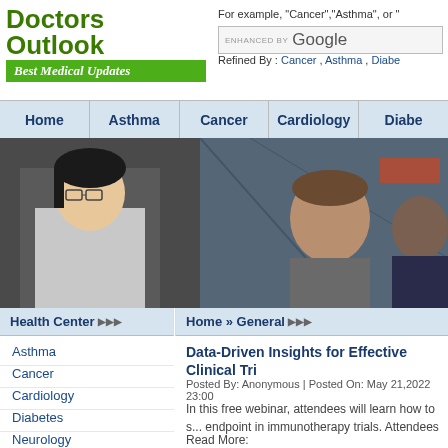[Figure (logo): Doctors Outlook logo with green text and green banner saying Best Medical Updates]
For example, "Cancer","Asthma", or "
ENHANCED BY Google
Refined By : Cancer , Asthma , Diabe...
Home | Asthma | Cancer | Cardiology | Diabe...
[Figure (photo): Banner photo showing medical professionals including a female doctor in white coat and other people]
Health Center ▶▶▶
Asthma
Cancer
Cardiology
Diabetes
Neurology
Nutrition
Pediatrics
OB / GYN
General
Home » General ▶▶▶
Data-Driven Insights for Effective Clinical Tri...
Posted By: Anonymous | Posted On: May 21,2022 23:00...
In this free webinar, attendees will learn how to s... endpoint in immunotherapy trials. Attendees will...
Read More:
https://www.prweb.com/releases/data_driven_in...